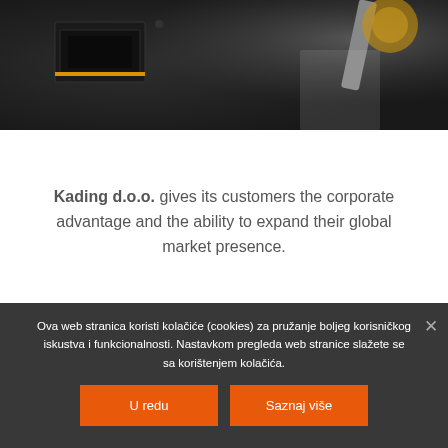[Figure (photo): Dark overhead photo of tools/equipment on a table, showing what appears to be a dark device with yellow stripe detail and metallic objects]
Kading d.o.o. gives its customers the corporate advantage and the ability to expand their global market presence.
Ova web stranica koristi kolačiće (cookies) za pružanje boljeg korisničkog iskustva i funkcionalnosti. Nastavkom pregleda web stranice slažete se sa korištenjem kolačića.
U redu
Saznaj više